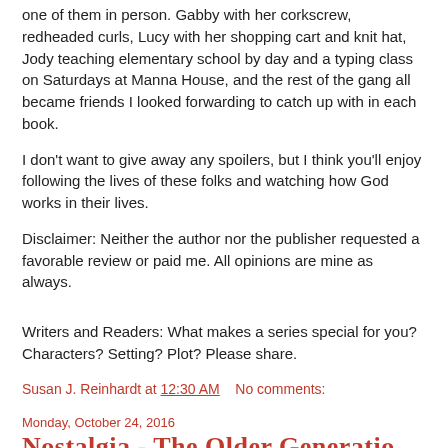one of them in person. Gabby with her corkscrew, redheaded curls, Lucy with her shopping cart and knit hat, Jody teaching elementary school by day and a typing class on Saturdays at Manna House, and the rest of the gang all became friends I looked forwarding to catch up with in each book.
I don't want to give away any spoilers, but I think you'll enjoy following the lives of these folks and watching how God works in their lives.
Disclaimer:  Neither the author nor the publisher requested a favorable review or paid me. All opinions are mine as always.
Writers and Readers:  What makes a series special for you? Characters? Setting? Plot? Please share.
Susan J. Reinhardt at 12:30 AM    No comments:
Monday, October 24, 2016
Nostalgia - The Older Generations...